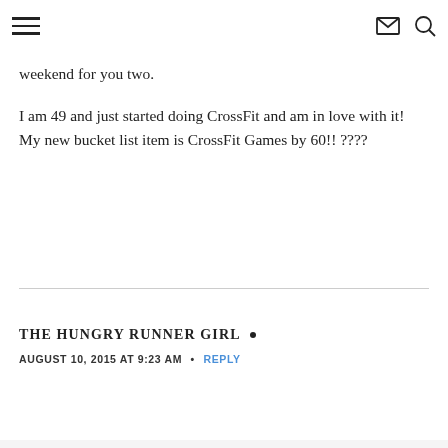☰  ✉  🔍
weekend for you two.
I am 49 and just started doing CrossFit and am in love with it! My new bucket list item is CrossFit Games by 60!! ????
THE HUNGRY RUNNER GIRL •
AUGUST 10, 2015 AT 9:23 AM • REPLY
Di! That is seriously so awesome! You are rocking the CrossFit and I can't wait for you to get to the